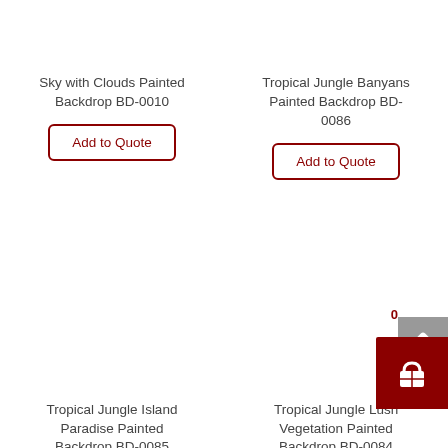Sky with Clouds Painted Backdrop BD-0010
Tropical Jungle Banyans Painted Backdrop BD-0086
Tropical Jungle Island Paradise Painted Backdrop BD-0085
Tropical Jungle Lush Vegetation Painted Backdrop BD-0084